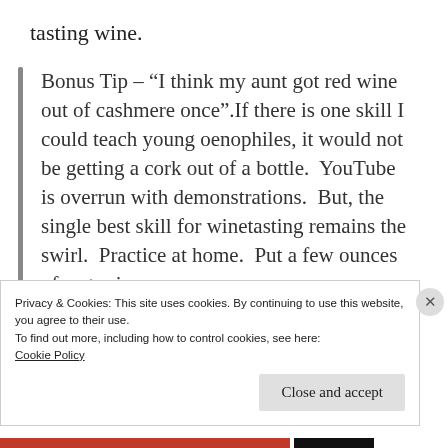tasting wine.
Bonus Tip – “I think my aunt got red wine out of cashmere once”.If there is one skill I could teach young oenophiles, it would not be getting a cork out of a bottle.  YouTube is overrun with demonstrations.  But, the single best skill for winetasting remains the swirl.  Practice at home.  Put a few ounces of water in your
Privacy & Cookies: This site uses cookies. By continuing to use this website, you agree to their use.
To find out more, including how to control cookies, see here:
Cookie Policy
Close and accept